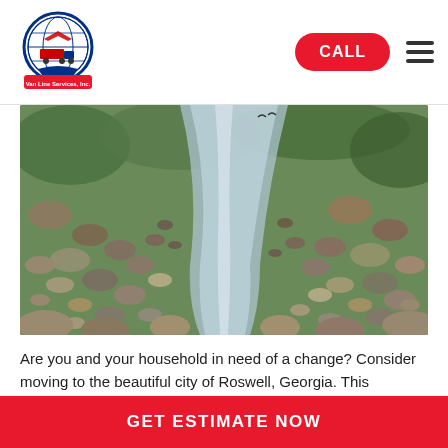Air Land Sea Van Line Services, Inc. | CALL | Menu
[Figure (photo): Scenic photo of a shallow rocky river or creek with clear water reflecting light, stones visible on both sides, green foliage in background]
Are you and your household in need of a change? Consider moving to the beautiful city of Roswell, Georgia. This charming city is filled with rich history, a connection to nature, and plenty of opportunities for families of all stages in life. Whether you want to take your children on a hike by Vicke...
Read More
GET ESTIMATE NOW